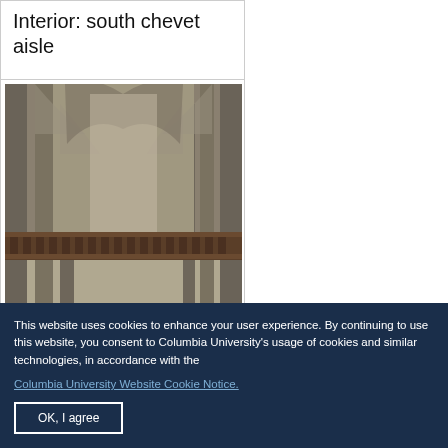Interior: south chevet aisle
[Figure (photo): Interior photograph of a Gothic cathedral showing the south chevet aisle with tall stone columns, pointed arches, wooden choir stalls or railing in the foreground, and a long nave receding into the distance.]
This website uses cookies to enhance your user experience. By continuing to use this website, you consent to Columbia University's usage of cookies and similar technologies, in accordance with the
Columbia University Website Cookie Notice.
OK, I agree